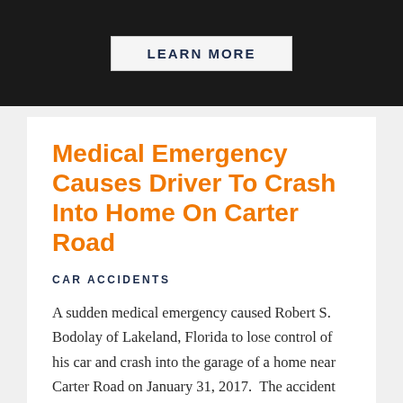[Figure (photo): Dark background banner image with a 'LEARN MORE' button in the center]
Medical Emergency Causes Driver To Crash Into Home On Carter Road
CAR ACCIDENTS
A sudden medical emergency caused Robert S. Bodolay of Lakeland, Florida to lose control of his car and crash into the garage of a home near Carter Road on January 31, 2017.  The accident happened in the morning hours as Bodolay's vehicle went off the shoulder of the roadway, through more than one yard, and hitting the garage door of 1001 Shadowbrook Drive North